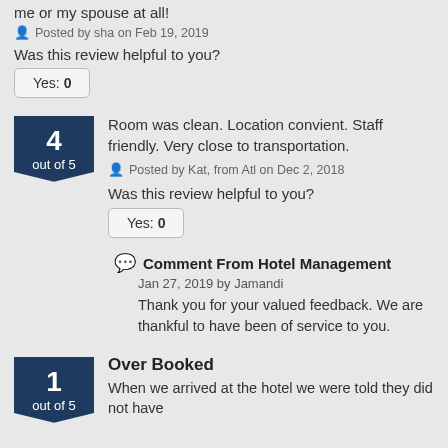me or my spouse at all!
Posted by sha on Feb 19, 2019
Was this review helpful to you?
Yes: 0
4 out of 5
Room was clean. Location convient. Staff friendly. Very close to transportation.
Posted by Kat, from Atl on Dec 2, 2018
Was this review helpful to you?
Yes: 0
Comment From Hotel Management
Jan 27, 2019 by Jamandi
Thank you for your valued feedback. We are thankful to have been of service to you.
1 out of 5
Over Booked
When we arrived at the hotel we were told they did not have